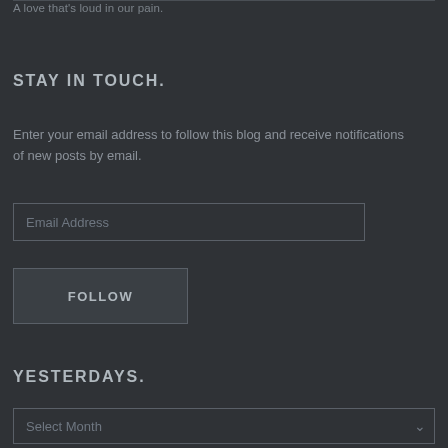A love that's loud in our pain.
STAY IN TOUCH.
Enter your email address to follow this blog and receive notifications of new posts by email.
Email Address
FOLLOW
YESTERDAYS.
Select Month